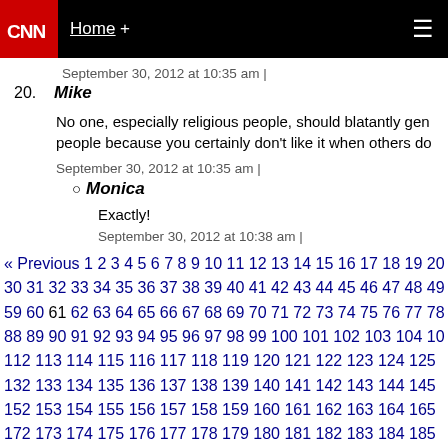CNN | Home + ☰
September 30, 2012 at 10:35 am |
20. Mike
No one, especially religious people, should blatantly ge... people because you certainly don't like it when others do...
September 30, 2012 at 10:35 am |
○ Monica
Exactly!
September 30, 2012 at 10:38 am |
« Previous 1 2 3 4 5 6 7 8 9 10 11 12 13 14 15 16 17 18 19 20 30 31 32 33 34 35 36 37 38 39 40 41 42 43 44 45 46 47 48 49 59 60 61 62 63 64 65 66 67 68 69 70 71 72 73 74 75 76 77 78 88 89 90 91 92 93 94 95 96 97 98 99 100 101 102 103 104 10 112 113 114 115 116 117 118 119 120 121 122 123 124 125 132 133 134 135 136 137 138 139 140 141 142 143 144 145 152 153 154 155 156 157 158 159 160 161 162 163 164 165 172 173 174 175 176 177 178 179 180 181 182 183 184 185 192 193 194 195 196 197 198 199 200 201 202 203 204 205 213 214 215 216 217 218 219 220 221 222 223 224 225